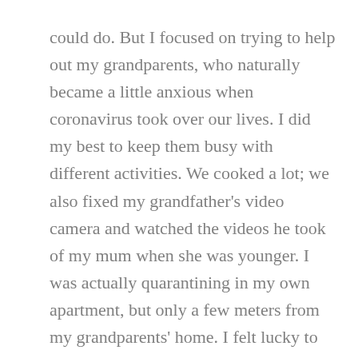could do. But I focused on trying to help out my grandparents, who naturally became a little anxious when coronavirus took over our lives. I did my best to keep them busy with different activities. We cooked a lot; we also fixed my grandfather's video camera and watched the videos he took of my mum when she was younger. I was actually quarantining in my own apartment, but only a few meters from my grandparents' home. I felt lucky to have my own space but also some family members to spend time with — I visited them every day and we always had meals together.
When the virus started spreading in Italy, I thought about going back to South Africa, but it seemed best to stay. It felt risky to fly internationally and, in addition, I